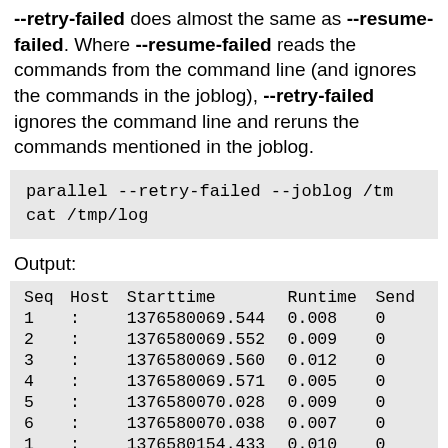--retry-failed does almost the same as --resume-failed. Where --resume-failed reads the commands from the command line (and ignores the commands in the joblog), --retry-failed ignores the command line and reruns the commands mentioned in the joblog.
parallel --retry-failed --joblog /tmp
cat /tmp/log
Output:
| Seq | Host | Starttime | Runtime | Send |
| --- | --- | --- | --- | --- |
| 1 | : | 1376580069.544 | 0.008 | 0 |
| 2 | : | 1376580069.552 | 0.009 | 0 |
| 3 | : | 1376580069.560 | 0.012 | 0 |
| 4 | : | 1376580069.571 | 0.005 | 0 |
| 5 | : | 1376580070.028 | 0.009 | 0 |
| 6 | : | 1376580070.038 | 0.007 | 0 |
| 1 | : | 1376580154.433 | 0.010 | 0 |
| 2 | : | 1376580154.444 | 0.022 | 0 |
| 3 | : | 1376580154.466 | 0.005 | 0 |
| 4 | : | 1376580154.??? | 0.010 | 0 |